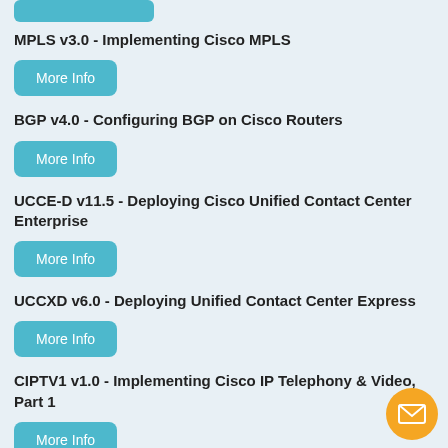MPLS v3.0 - Implementing Cisco MPLS
More Info
BGP v4.0 - Configuring BGP on Cisco Routers
More Info
UCCE-D v11.5 - Deploying Cisco Unified Contact Center Enterprise
More Info
UCCXD v6.0 - Deploying Unified Contact Center Express
More Info
CIPTV1 v1.0 - Implementing Cisco IP Telephony & Video, Part 1
More Info
CIPTV2 v1.0 - Implementing Cisco IP Telephony & Video, Part 2